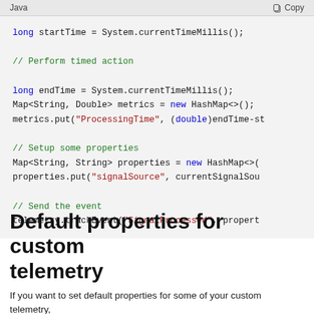[Figure (screenshot): Java code block showing telemetry tracking code with syntax highlighting. Contains: long startTime = System.currentTimeMillis(); // Perform timed action long endTime = System.currentTimeMillis(); Map<String, Double> metrics = new HashMap<>(); metrics.put("ProcessingTime", (double)endTime-st... // Setup some properties Map<String, String> properties = new HashMap<>( properties.put("signalSource", currentSignalSour... // Send the event telemetry.trackEvent("SignalProcessed", propert...]
Default properties for custom telemetry
If you want to set default properties for some of your custom telemetry,